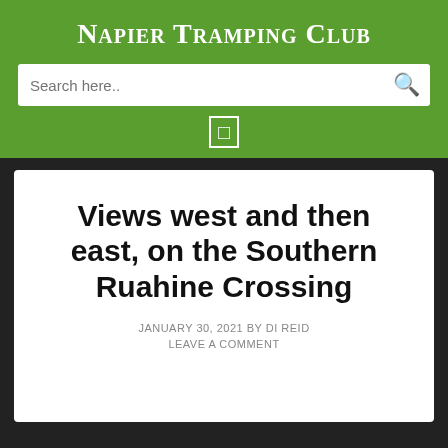Napier Tramping Club
Views west and then east, on the Southern Ruahine Crossing
JANUARY 30, 2021 BY DI REID
LEAVE A COMMENT